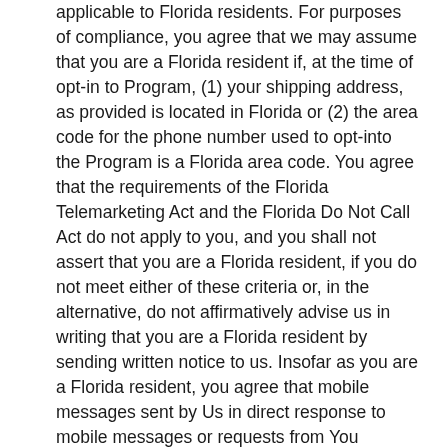applicable to Florida residents. For purposes of compliance, you agree that we may assume that you are a Florida resident if, at the time of opt-in to Program, (1) your shipping address, as provided is located in Florida or (2) the area code for the phone number used to opt-into the Program is a Florida area code.  You agree that the requirements of the Florida Telemarketing Act and the Florida Do Not Call Act do not apply to you, and you shall not assert that you are a Florida resident, if you do not meet either of these criteria or, in the alternative, do not affirmatively advise us in writing that you are a Florida resident by sending written notice to us.  Insofar as you are a Florida resident, you agree that mobile messages sent by Us in direct response to mobile messages or requests from You (including but are not limited to response to Keywords, opt-in, help or stop requests and shipping notifications) shall not constitute a “telephonic sales call” or “commercial telephone solicitation phone call” for purposes of Florida Statutes Section 501 (including but not limited to sections 501.059 and 501.616), to the extent the law is otherwise relevant and